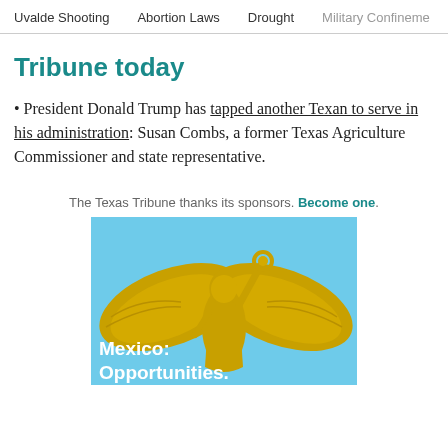Uvalde Shooting   Abortion Laws   Drought   Military Confinement
Tribune today
• President Donald Trump has tapped another Texan to serve in his administration: Susan Combs, a former Texas Agriculture Commissioner and state representative.
The Texas Tribune thanks its sponsors. Become one.
[Figure (photo): Advertisement image showing a golden winged statue (angel/victory figure) against a blue sky background with text overlay reading 'Mexico: Opportunities.']